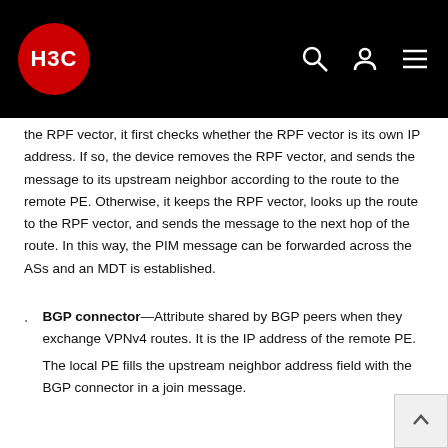H3C
the RPF vector, it first checks whether the RPF vector is its own IP address. If so, the device removes the RPF vector, and sends the message to its upstream neighbor according to the route to the remote PE. Otherwise, it keeps the RPF vector, looks up the route to the RPF vector, and sends the message to the next hop of the route. In this way, the PIM message can be forwarded across the ASs and an MDT is established.
BGP connector—Attribute shared by BGP peers when they exchange VPNv4 routes. It is the IP address of the remote PE. The local PE fills the upstream neighbor address field with the BGP connector in a join message.